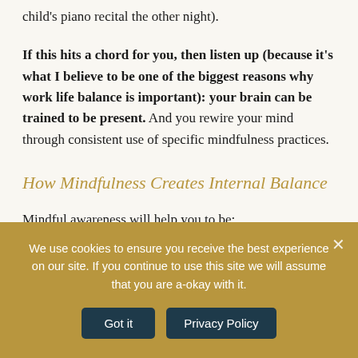child's piano recital the other night).
If this hits a chord for you, then listen up (because it's what I believe to be one of the biggest reasons why work life balance is important): your brain can be trained to be present. And you rewire your mind through consistent use of specific mindfulness practices.
How Mindfulness Creates Internal Balance
Mindful awareness will help you to be:
We use cookies to ensure you receive the best experience on our site. If you continue to use this site we will assume that you are a-okay with it.